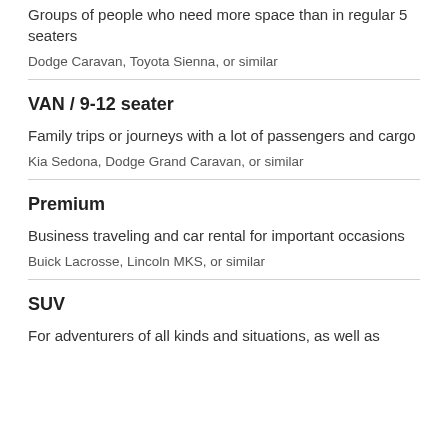Groups of people who need more space than in regular 5 seaters
Dodge Caravan, Toyota Sienna, or similar
VAN / 9-12 seater
Family trips or journeys with a lot of passengers and cargo
Kia Sedona, Dodge Grand Caravan, or similar
Premium
Business traveling and car rental for important occasions
Buick Lacrosse, Lincoln MKS, or similar
SUV
For adventurers of all kinds and situations, as well as